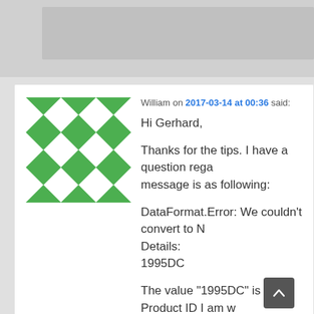William on 2017-03-14 at 00:36 said:
Hi Gerhard,

Thanks for the tips. I have a question regarding... message is as following:

DataFormat.Error: We couldn't convert to n... Details:
1995DC

The value "1995DC" is a Product ID I am w... want to convert this into numbers, I want it... purpose. In addition, I have already conve... column from "general" to "text". When I tra... still tries to convert to numbers. Is there a...